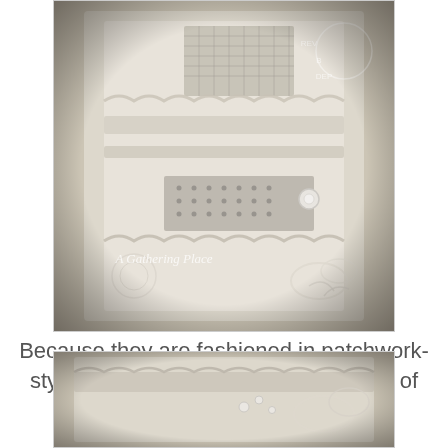[Figure (photo): Close-up photograph of intricate white/cream lace fabric with patchwork-style textile details, floral lace overlays, netting sections, and a pearl button embellishment. A watermark reads 'A Gathering Place'. The photo has a soft, romantic, vintage aesthetic.]
Because they are fashioned in patchwork-style there isn't a pattern or a set way of covering the shades!
[Figure (photo): Partial close-up photograph of white/cream lace and textile fabric, similar patchwork lace style as the top image, partially cropped at the bottom of the page.]